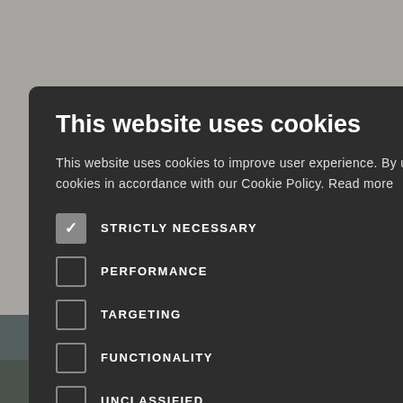Bek Frith
10 March 2017 · 2 min read · News
[Figure (screenshot): Background webpage with partially visible article text 'ased' and a photo of a woman at a computer desk]
This website uses cookies
This website uses cookies to improve user experience. By using our website you consent to all cookies in accordance with our Cookie Policy. Read more
STRICTLY NECESSARY (checked)
PERFORMANCE
TARGETING
FUNCTIONALITY
UNCLASSIFIED
ACCEPT ALL
DECLINE ALL
SHOW DETAILS